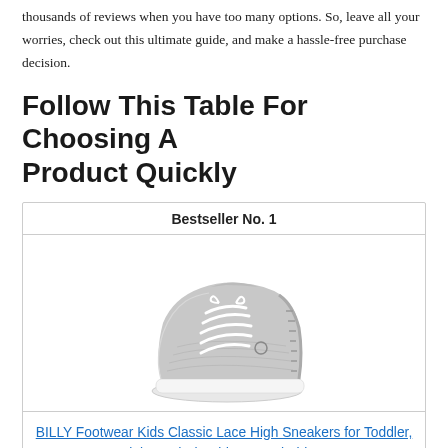thousands of reviews when you have too many options. So, leave all your worries, check out this ultimate guide, and make a hassle-free purchase decision.
Follow This Table For Choosing A Product Quickly
| Bestseller No. 1 |
| --- |
| [shoe image] |
| BILLY Footwear Kids Classic Lace High Sneakers for Toddler, Little, and Big Kids - Breathable... |